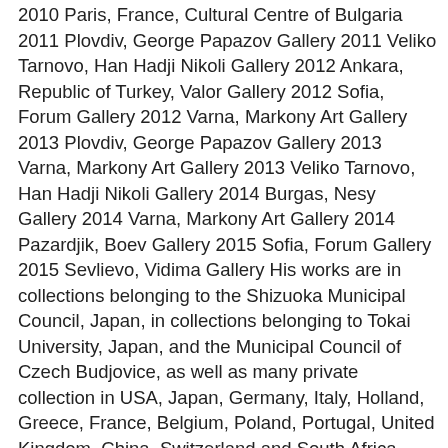2010 Paris, France, Cultural Centre of Bulgaria 2011 Plovdiv, George Papazov Gallery 2011 Veliko Tarnovo, Han Hadji Nikoli Gallery 2012 Ankara, Republic of Turkey, Valor Gallery 2012 Sofia, Forum Gallery 2012 Varna, Markony Art Gallery 2013 Plovdiv, George Papazov Gallery 2013 Varna, Markony Art Gallery 2013 Veliko Tarnovo, Han Hadji Nikoli Gallery 2014 Burgas, Nesy Gallery 2014 Varna, Markony Art Gallery 2014 Pazardjik, Boev Gallery 2015 Sofia, Forum Gallery 2015 Sevlievo, Vidima Gallery His works are in collections belonging to the Shizuoka Municipal Council, Japan, in collections belonging to Tokai University, Japan, and the Municipal Council of Czech Budjovice, as well as many private collection in USA, Japan, Germany, Italy, Holland, Greece, France, Belgium, Poland, Portugal, United Kingdom, China, Switzerland and South Africa.